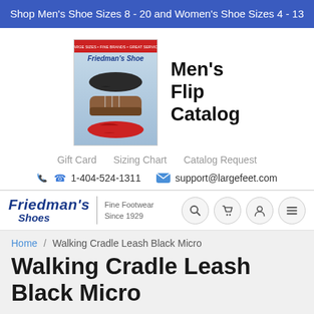Shop Men's Shoe Sizes 8 - 20 and Women's Shoe Sizes 4 - 13
[Figure (illustration): Friedman's Shoes Men's Flip Catalog cover showing three pairs of shoes on a blue background]
Men's Flip Catalog
Gift Card   Sizing Chart   Catalog Request
1-404-524-1311   support@largefeet.com
[Figure (logo): Friedman's Shoes Fine Footwear Since 1929 logo with script text and navigation icons (search, cart, user, menu)]
Home / Walking Cradle Leash Black Micro
Walking Cradle Leash Black Micro